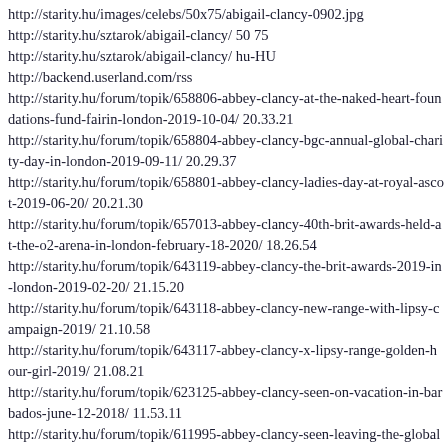http://starity.hu/images/celebs/50x75/abigail-clancy-0902.jpg
http://starity.hu/sztarok/abigail-clancy/ 50 75
http://starity.hu/sztarok/abigail-clancy/ hu-HU
http://backend.userland.com/rss
http://starity.hu/forum/topik/658806-abbey-clancy-at-the-naked-heart-foundations-fund-fairin-london-2019-10-04/ 20.33.21
http://starity.hu/forum/topik/658804-abbey-clancy-bgc-annual-global-charity-day-in-london-2019-09-11/ 20.29.37
http://starity.hu/forum/topik/658801-abbey-clancy-ladies-day-at-royal-ascot-2019-06-20/ 20.21.30
http://starity.hu/forum/topik/657013-abbey-clancy-40th-brit-awards-held-at-the-o2-arena-in-london-february-18-2020/ 18.26.54
http://starity.hu/forum/topik/643119-abbey-clancy-the-brit-awards-2019-in-london-2019-02-20/ 21.15.20
http://starity.hu/forum/topik/643118-abbey-clancy-new-range-with-lipsy-campaign-2019/ 21.10.58
http://starity.hu/forum/topik/643117-abbey-clancy-x-lipsy-range-golden-hour-girl-2019/ 21.08.21
http://starity.hu/forum/topik/623125-abbey-clancy-seen-on-vacation-in-barbados-june-12-2018/ 11.53.11
http://starity.hu/forum/topik/611995-abbey-clancy-seen-leaving-the-global-awards-2018-at-eventim-apollo-hammersmith-in-london-march-1-2018/ 15.59.44
http://starity.hu/forum/topik/611879-abbey-clancy-the-global-awards-2018-at-eventim-apollo-hammersmith-in-london-march-1-